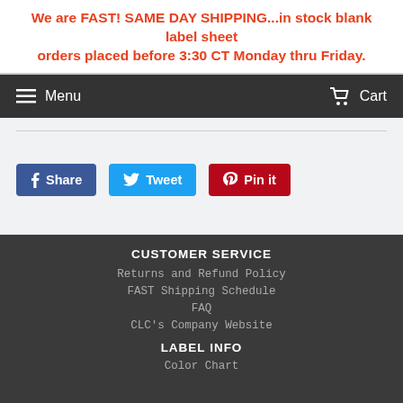We are FAST! SAME DAY SHIPPING...in stock blank label sheet orders placed before 3:30 CT Monday thru Friday.
Menu
Cart
[Figure (other): Social sharing buttons: Share (Facebook, blue), Tweet (Twitter, light blue), Pin it (Pinterest, red)]
CUSTOMER SERVICE
Returns and Refund Policy
FAST Shipping Schedule
FAQ
CLC's Company Website
LABEL INFO
Color Chart